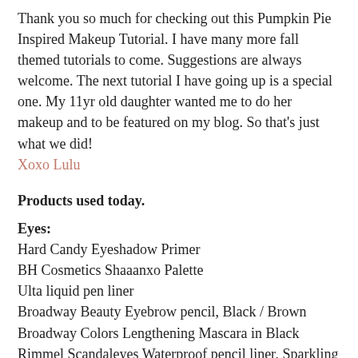Thank you so much for checking out this Pumpkin Pie Inspired Makeup Tutorial. I have many more fall themed tutorials to come. Suggestions are always welcome. The next tutorial I have going up is a special one. My 11yr old daughter wanted me to do her makeup and to be featured on my blog. So that's just what we did! Xoxo Lulu
Products used today.
Eyes:
Hard Candy Eyeshadow Primer
BH Cosmetics Shaaanxo Palette
Ulta liquid pen liner
Broadway Beauty Eyebrow pencil, Black / Brown
Broadway Colors Lengthening Mascara in Black
Rimmel Scandaleyes Waterproof pencil liner, Sparkling Black
Face:
Maybelline Baby Skin Instant matte primer
Maybelline Fit Me Matte + Poreless Foundation, Porcelain 110
Revlon Colorstay Combo / Oily, in 200 Nude
Coty Airspun Face Powder, Naturally Neutral
Wet n Wild Contouring and Highlight palette, Dulce De Leche